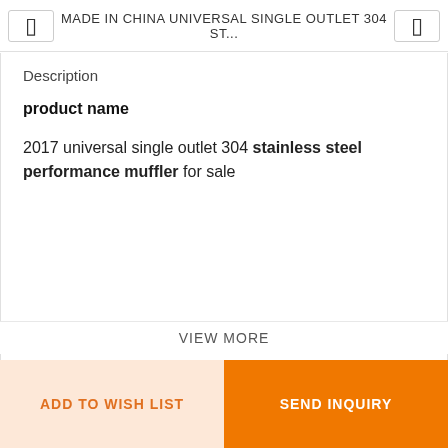MADE IN CHINA UNIVERSAL SINGLE OUTLET 304 ST...
Description
product name
2017 universal single outlet 304 stainless steel performance muffler for sale
VIEW MORE
ADD TO WISH LIST
SEND INQUIRY